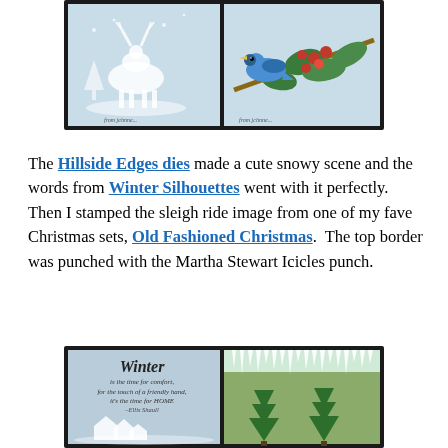[Figure (photo): Two framed craft cards side by side: left card shows a white deer in a snowy scene on light blue background, right card shows a blue bird on a branch with red berries on light blue background. Both in black frames.]
The Hillside Edges dies made a cute snowy scene and the words from Winter Silhouettes went with it perfectly.  Then I stamped the sleigh ride image from one of my fave Christmas sets, Old Fashioned Christmas.  The top border was punched with the Martha Stewart Icicles punch.
[Figure (photo): Two framed craft cards side by side: left card shows script text 'Winter is the time for comfort, for the touch of a friendly hand, for the time for HOME' with silhouette of houses on light blue background, right card shows green pine trees with icicles along the top on green background. Both in black frames.]